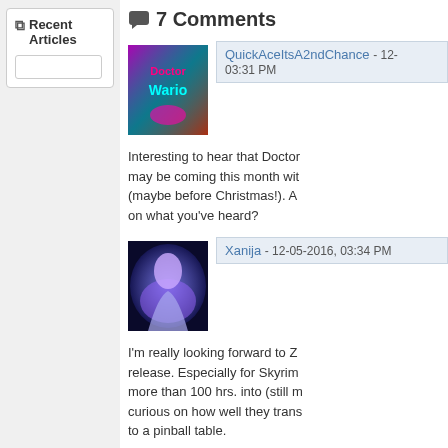Recent Articles
7 Comments
QuickAceItsA2ndChance - 12-... 03:31 PM
Interesting to hear that Doctor... may be coming this month with... (maybe before Christmas!). A... on what you've heard?
Xanija - 12-05-2016, 03:34 PM
I'm really looking forward to Z... release. Especially for Skyrim... more than 100 hrs. into (still m... curious on how well they trans... to a pinball table.
jaredmorgs - 12-05-2016, 03:...
I think it's definitely possible w... That iTunes submission dead...